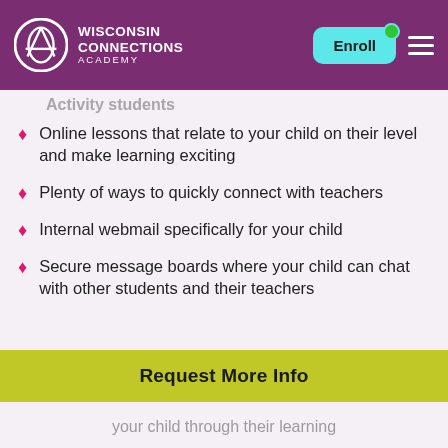Wisconsin Connections Academy — Enroll
Online lessons that relate to your child on their level and make learning exciting
Plenty of ways to quickly connect with teachers
Internal webmail specifically for your child
Secure message boards where your child can chat with other students and their teachers
Request More Info
your child through their learning